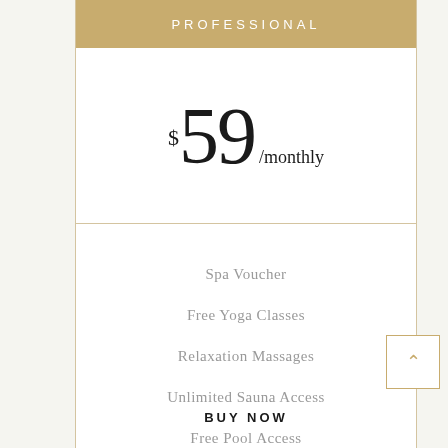PROFESSIONAL
$59 /monthly
Spa Voucher
Free Yoga Classes
Relaxation Massages
Unlimited Sauna Access
Free Pool Access
BUY NOW